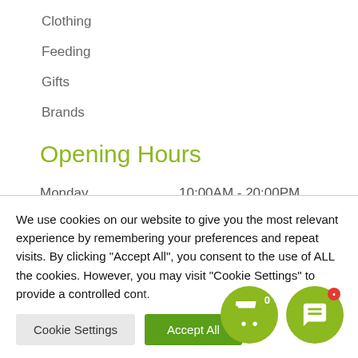Clothing
Feeding
Gifts
Brands
Opening Hours
|  |  |
| --- | --- |
| Monday | 10:00AM - 20:00PM |
| Tuesday | 10:00AM - 20:00PM |
We use cookies on our website to give you the most relevant experience by remembering your preferences and repeat visits. By clicking “Accept All”, you consent to the use of ALL the cookies. However, you may visit “Cookie Settings” to provide a controlled consent.
Cookie Settings | Accept All